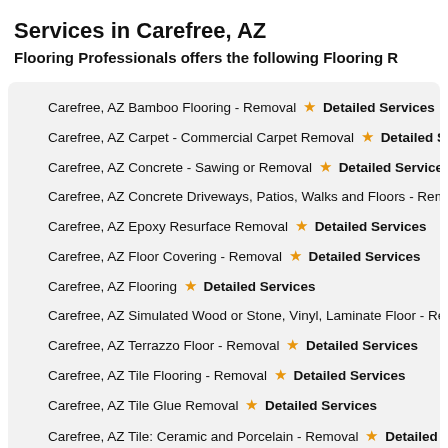Services in Carefree, AZ
Flooring Professionals offers the following Flooring R
Carefree, AZ Bamboo Flooring - Removal ★ Detailed Services
Carefree, AZ Carpet - Commercial Carpet Removal ★ Detailed Servi
Carefree, AZ Concrete - Sawing or Removal ★ Detailed Services
Carefree, AZ Concrete Driveways, Patios, Walks and Floors - Remo
Carefree, AZ Epoxy Resurface Removal ★ Detailed Services
Carefree, AZ Floor Covering - Removal ★ Detailed Services
Carefree, AZ Flooring ★ Detailed Services
Carefree, AZ Simulated Wood or Stone, Vinyl, Laminate Floor - Rem
Carefree, AZ Terrazzo Floor - Removal ★ Detailed Services
Carefree, AZ Tile Flooring - Removal ★ Detailed Services
Carefree, AZ Tile Glue Removal ★ Detailed Services
Carefree, AZ Tile: Ceramic and Porcelain - Removal ★ Detailed Serv